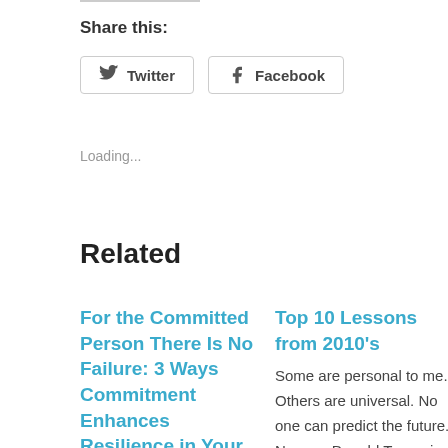Share this:
Twitter  Facebook
Loading...
Related
For the Committed Person There Is No Failure: 3 Ways Commitment Enhances Resilience in Your Life, Leadership and Culture
Top 10 Lessons from 2010's
Some are personal to me. Others are universal. No one can predict the future. No one. Donald Trump is President. No one could